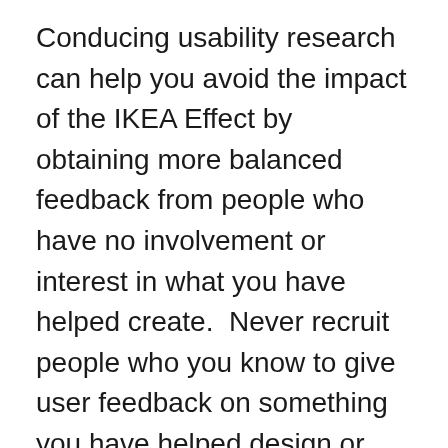Conducing usability research can help you avoid the impact of the IKEA Effect by obtaining more balanced feedback from people who have no involvement or interest in what you have helped create.  Never recruit people who you know to give user feedback on something you have helped design or create. They may not be comfortable giving their opinions if they think they could hurt your feelings.
User research allows you to obtain feedback from real people at each stage of the development process. This can inform your